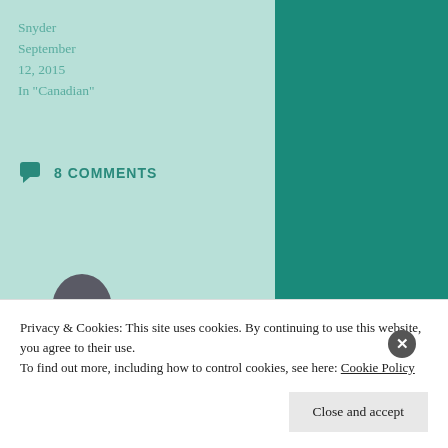Snyder
September
12, 2015
In "Canadian"
8 COMMENTS
[Figure (illustration): Avatar/silhouette of a person's head and shoulders in dark gray]
The Magic of Saida was a choice for our Goodreads/SBS Relaunch for the…
Privacy & Cookies: This site uses cookies. By continuing to use this website, you agree to their use.
To find out more, including how to control cookies, see here: Cookie Policy
Close and accept